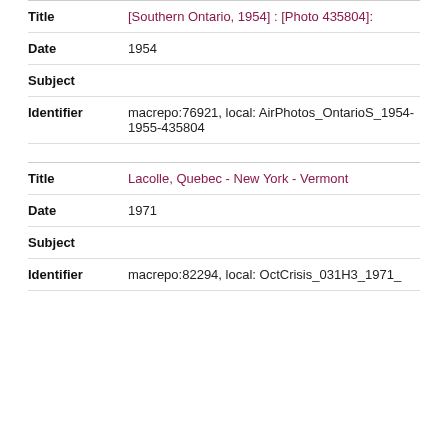| Field | Value |
| --- | --- |
| Title | [Southern Ontario, 1954] : [Photo 435804]: |
| Date | 1954 |
| Subject |  |
| Identifier | macrepo:76921, local: AirPhotos_OntarioS_1954-1955-435804 |
| Field | Value |
| --- | --- |
| Title | Lacolle, Quebec - New York - Vermont |
| Date | 1971 |
| Subject |  |
| Identifier | macrepo:82294, local: OctCrisis_031H3_1971_ |